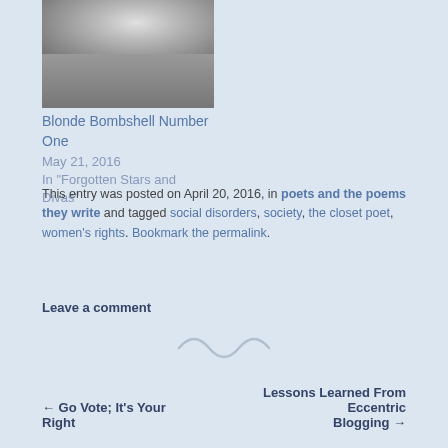[Figure (photo): Black and white photo of a woman posing, likely a classic actress or celebrity]
Blonde Bombshell Number One
May 21, 2016
In "Forgotten Stars and Divas"
This entry was posted on April 20, 2016, in poets and the poems they write and tagged social disorders, society, the closet poet, women's rights. Bookmark the permalink.
Leave a comment
[Figure (illustration): Decorative squiggle/tilde divider symbol]
← Go Vote; It's Your Right
Lessons Learned From Eccentric Blogging →